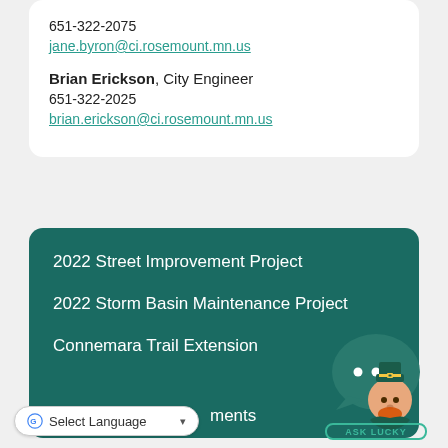651-322-2075
jane.byron@ci.rosemount.mn.us
Brian Erickson, City Engineer
651-322-2025
brian.erickson@ci.rosemount.mn.us
2022 Street Improvement Project
2022 Storm Basin Maintenance Project
Connemara Trail Extension
…ments
[Figure (logo): Ask Lucky chatbot logo — a green speech bubble with dots and a leprechaun character, with 'ASK LUCKY' text in a green rounded rectangle below]